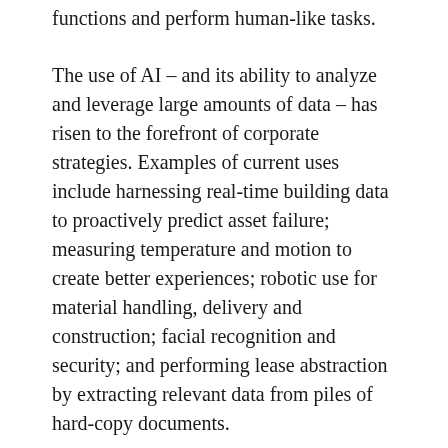functions and perform human-like tasks.
The use of AI – and its ability to analyze and leverage large amounts of data – has risen to the forefront of corporate strategies. Examples of current uses include harnessing real-time building data to proactively predict asset failure; measuring temperature and motion to create better experiences; robotic use for material handling, delivery and construction; facial recognition and security; and performing lease abstraction by extracting relevant data from piles of hard-copy documents.
For some, the future of AI is exciting – for others it may be daunting. But, the “future” is